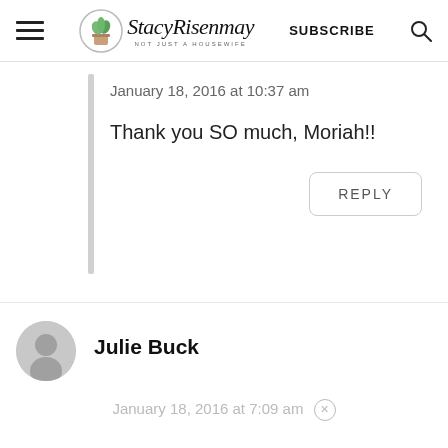StacyRisenmay | NOT JUST A HOUSEWIFE | SUBSCRIBE
January 18, 2016 at 10:37 am
Thank you SO much, Moriah!!
REPLY
Julie Buck
January 18, 2016 at 7:09 am